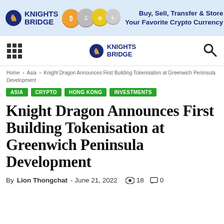[Figure (logo): Knights Bridge banner advertisement with logo, crypto coins, tagline: Buy, Sell, Transfer & Store Your Favorite Crypto Currency]
Knights Bridge navigation bar with grid menu, logo, and search icon
Home › Asia › Knight Dragon Announces First Building Tokenisation at Greenwich Peninsula Development
ASIA  CRYPTO  HONG KONG  INVESTMENTS
Knight Dragon Announces First Building Tokenisation at Greenwich Peninsula Development
By Lion Thongchat - June 21, 2022  18  0